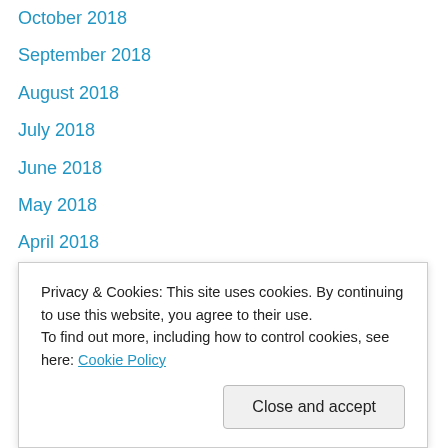October 2018
September 2018
August 2018
July 2018
June 2018
May 2018
April 2018
March 2018
February 2018
January 2018
December 2017
November 2017
October 2017
September 2017 (partial)
Privacy & Cookies: This site uses cookies. By continuing to use this website, you agree to their use. To find out more, including how to control cookies, see here: Cookie Policy
March 2017